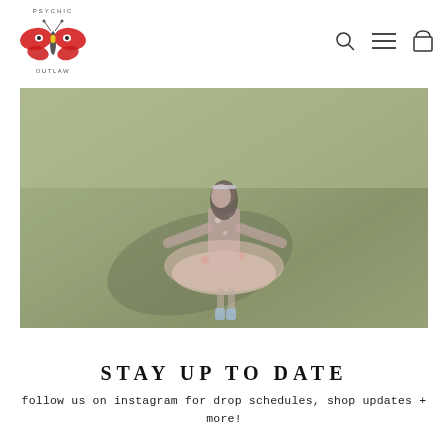[Figure (logo): Psychic Outlaw logo: illustrated butterfly with red wings and eyes, text 'PSYCHIC OUTLAW' around it in handwritten style]
[Figure (other): Navigation icons: search (magnifying glass), hamburger menu (three lines), shopping bag outline]
[Figure (photo): A young girl in a colorful patchwork dress with wide skirt spinning on a grass field, casting a shadow. The image has a washed-out, light-bleached quality.]
STAY UP TO DATE
follow us on instagram for drop schedules, shop updates + more!